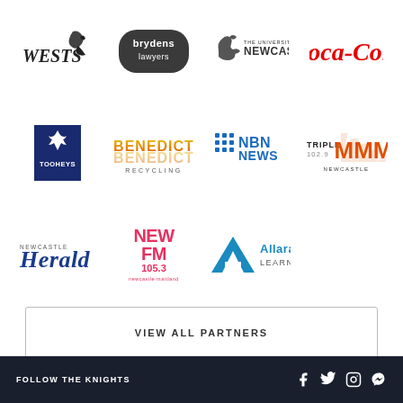[Figure (logo): Wests logo - stylized bird/crown with WESTS text in italic serif font]
[Figure (logo): Brydens Lawyers logo - dark rounded rectangle with white text]
[Figure (logo): The University of Newcastle logo - horse head icon with text]
[Figure (logo): Coca-Cola logo in red cursive script]
[Figure (logo): Tooheys logo - dark blue box with stag/deer icon]
[Figure (logo): Benedict Recycling logo - BENEDICT in gradient yellow/orange with RECYCLING below]
[Figure (logo): NBN News logo - blue dots grid icon with NBN NEWS text]
[Figure (logo): Triple M 102.9 Newcastle logo - orange/red lightning bolt M design]
[Figure (logo): Newcastle Herald logo - HERALD in blue serif font]
[Figure (logo): New FM 105.3 logo - colorful radio station branding]
[Figure (logo): Allara Learning logo - blue A triangle icon with Allara Learning text]
VIEW ALL PARTNERS
FOLLOW THE KNIGHTS